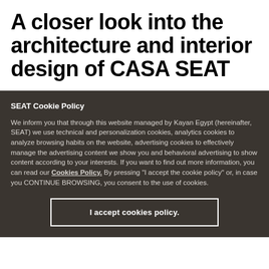A closer look into the architecture and interior design of CASA SEAT
SEAT Cookie Policy
We inform you that through this website managed by Kayan Egypt (hereinafter, SEAT) we use technical and personalization cookies, analytics cookies to analyze browsing habits on the website, advertising cookies to effectively manage the advertising content we show you and behavioral advertising to show content according to your interests. If you want to find out more information, you can read our Cookies Policy. By pressing "I accept the cookie policy" or, in case you CONTINUE BROWSING, you consent to the use of cookies.
I accept cookies policy.